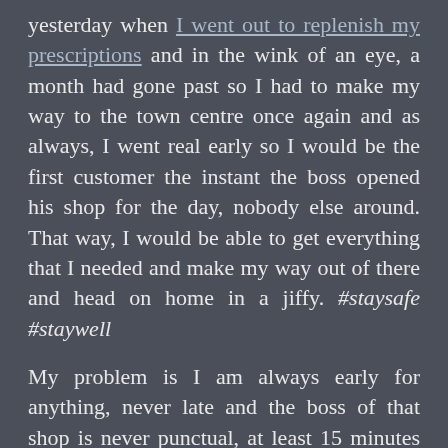yesterday when I went out to replenish my prescriptions and in the wink of an eye, a month had gone past so I had to make my way to the town centre once again and as always, I went real early so I would be the first customer the instant the boss opened his shop for the day, nobody else around. That way, I would be able to get everything that I needed and make my way out of there and head on home in a jiffy. #staysafe #staywell
My problem is I am always early for anything, never late and the boss of that shop is never punctual, at least 15 minutes late so he would never show up at 8.00 a.m. on the dot, 8.15 to the earliest. LOL!!!